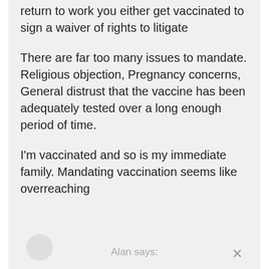return to work you either get vaccinated to sign a waiver of rights to litigate
There are far too many issues to mandate. Religious objection, Pregnancy concerns, General distrust that the vaccine has been adequately tested over a long enough period of time.
I'm vaccinated and so is my immediate family. Mandating vaccination seems like overreaching
Alan says: